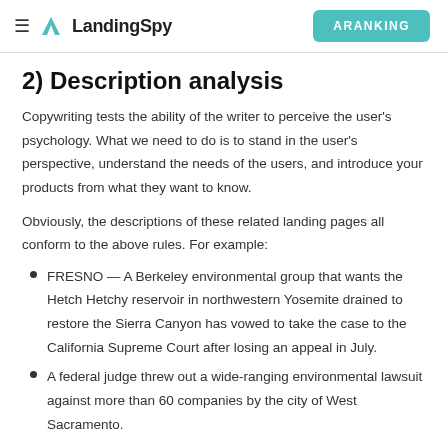LandingSpy | ARANKING
2) Description analysis
Copywriting tests the ability of the writer to perceive the user's psychology. What we need to do is to stand in the user's perspective, understand the needs of the users, and introduce your products from what they want to know.
Obviously, the descriptions of these related landing pages all conform to the above rules. For example:
FRESNO — A Berkeley environmental group that wants the Hetch Hetchy reservoir in northwestern Yosemite drained to restore the Sierra Canyon has vowed to take the case to the California Supreme Court after losing an appeal in July.
A federal judge threw out a wide-ranging environmental lawsuit against more than 60 companies by the city of West Sacramento.